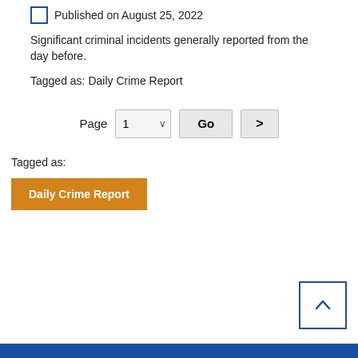Published on August 25, 2022
Significant criminal incidents generally reported from the day before.
Tagged as: Daily Crime Report
Page 1 Go >
Tagged as:
Daily Crime Report